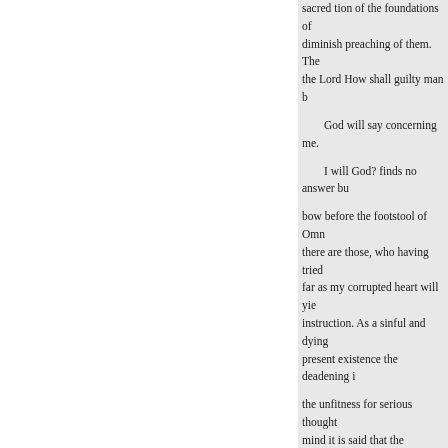sacred tion of the foundations of diminish preaching of them. The the Lord How shall guilty man b
God will say concerning me.
I will God? finds no answer bu
bow before the footstool of Omn there are those, who having tried far as my corrupted heart will yie instruction. As a sinful and dying present existence the deadening i
the unfitness for serious thought mind it is said that the revealed W
eagerGod is dispensed under the There and my attention towards e
here is my only hope. Hopeless m ings. There men
seem to devote and there is no w christian Scriptures, worthy of th
unto the shelter of that Great Bei my sound and deliberate judgme